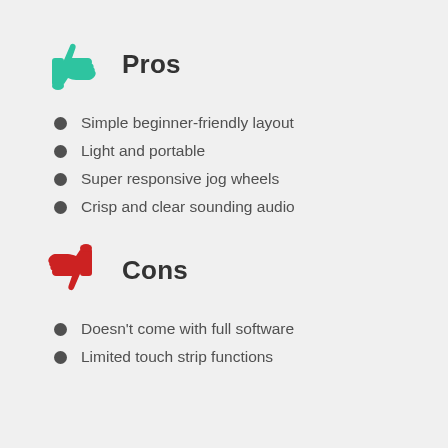Pros
Simple beginner-friendly layout
Light and portable
Super responsive jog wheels
Crisp and clear sounding audio
Cons
Doesn't come with full software
Limited touch strip functions